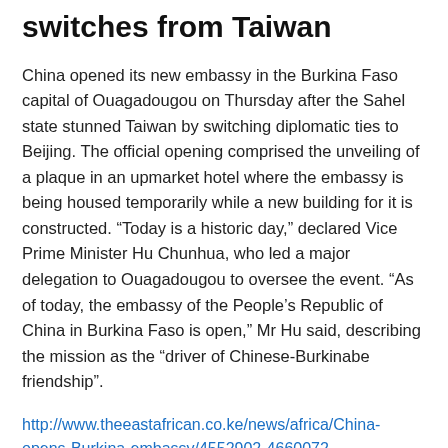switches from Taiwan
China opened its new embassy in the Burkina Faso capital of Ouagadougou on Thursday after the Sahel state stunned Taiwan by switching diplomatic ties to Beijing. The official opening comprised the unveiling of a plaque in an upmarket hotel where the embassy is being housed temporarily while a new building for it is constructed. “Today is a historic day,” declared Vice Prime Minister Hu Chunhua, who led a major delegation to Ouagadougou to oversee the event. “As of today, the embassy of the People’s Republic of China in Burkina Faso is open,” Mr Hu said, describing the mission as the “driver of Chinese-Burkinabe friendship”.
http://www.theeastafrican.co.ke/news/africa/China-opens-Burkina-embassy/4552902-4660072-iqkanr/index.html